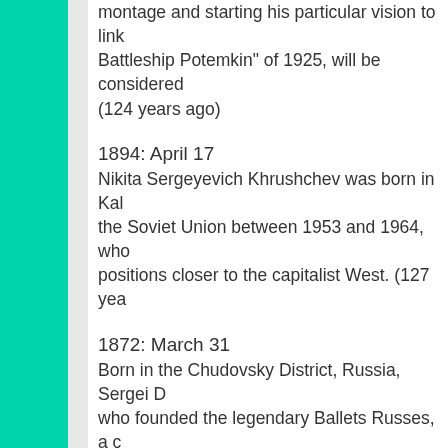montage and starting his particular vision to link Battleship Potemkin" of 1925, will be considered (124 years ago)
1894: April 17
Nikita Sergeyevich Khrushchev was born in Kal the Soviet Union between 1953 and 1964, who positions closer to the capitalist West. (127 yea
1872: March 31
Born in the Chudovsky District, Russia, Sergei D who founded the legendary Ballets Russes, a c choreographers will emerge. In Paris in 1910, d exchange the dancers' tutus for daring trousers Nijinsky will wear gold paint on his body and jew
1870: April 22
Born in Simbirsk (Russia) Vladimir Ilich Ulianov